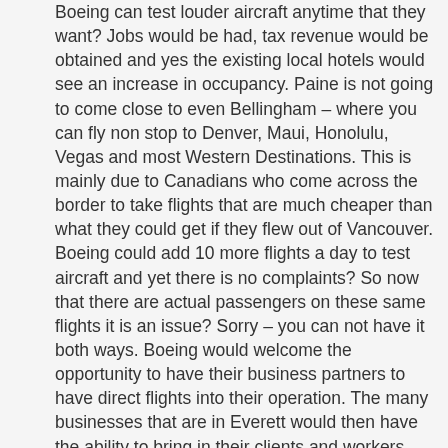Boeing can test louder aircraft anytime that they want? Jobs would be had, tax revenue would be obtained and yes the existing local hotels would see an increase in occupancy. Paine is not going to come close to even Bellingham – where you can fly non stop to Denver, Maui, Honolulu, Vegas and most Western Destinations. This is mainly due to Canadians who come across the border to take flights that are much cheaper than what they could get if they flew out of Vancouver. Boeing could add 10 more flights a day to test aircraft and yet there is no complaints? So now that there are actual passengers on these same flights it is an issue? Sorry – you can not have it both ways. Boeing would welcome the opportunity to have their business partners to have direct flights into their operation. The many businesses that are in Everett would then have the ability to bring in their clients and workers closer to their headquarters. Room tax, sales tax, parking fees, jobs – let alone the chance to decrease traffic to Sea Tac – it makes no sense why Paine does not move forward at worst on a limited basis. Sorry detractors – you wont become a San Diego or another Sea Tac. If Bellevue still